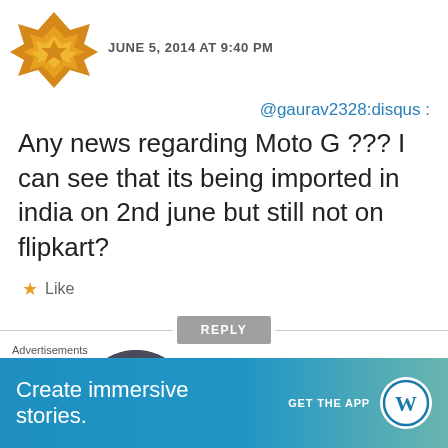[Figure (illustration): Orange geometric star/diamond pattern avatar icon]
JUNE 5, 2014 AT 9:40 PM
@gaurav2328:disqus :
Any news regarding Moto G ??? I can see that its being imported in india on 2nd june but still not on flipkart?
★ Like
REPLY
[Figure (photo): Profile photo of Gaurav Shukla – a man in dark clothing]
Gaurav Shukla
Advertisements
Create immersive stories.
GET THE APP